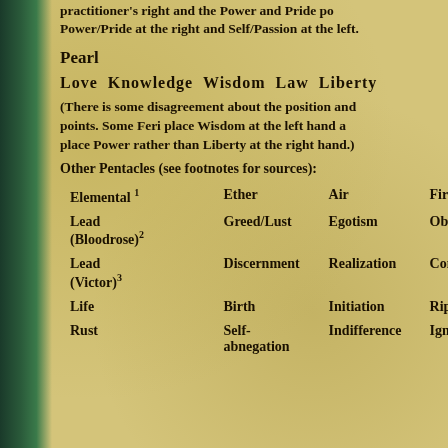practitioner's right and the Power and Pride points. Power/Pride at the right and Self/Passion at the left.
Pearl
Love  Knowledge  Wisdom  Law  Liberty
(There is some disagreement about the position and points. Some Feri place Wisdom at the left hand and place Power rather than Liberty at the right hand.)
Other Pentacles (see footnotes for sources):
|  | Col2 | Col3 | Col4 |
| --- | --- | --- | --- |
| Elemental 1 | Ether | Air | Fire |
| Lead (Bloodrose)2 | Greed/Lust | Egotism | Obse... |
| Lead (Victor)3 | Discernment | Realization | Cont... |
| Life | Birth | Initiation | Ripe... |
| Rust | Self-abnegation | Indifference | Igno... |